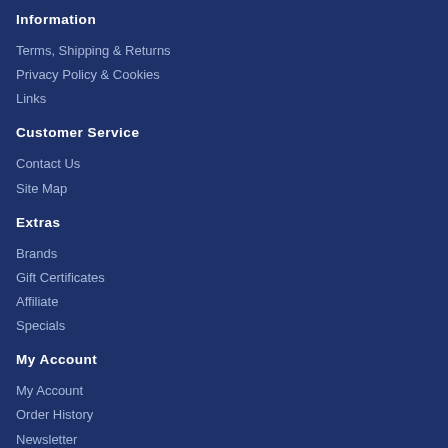Information
Terms, Shipping & Returns
Privacy Policy & Cookies
Links
Customer Service
Contact Us
Site Map
Extras
Brands
Gift Certificates
Affiliate
Specials
My Account
My Account
Order History
Newsletter
Logo Golf Balls © 2022